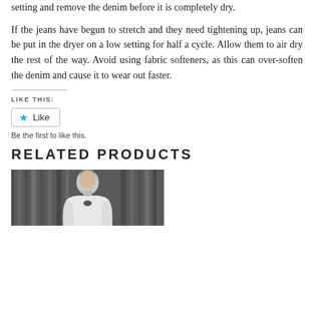setting and remove the denim before it is completely dry.
If the jeans have begun to stretch and they need tightening up, jeans can be put in the dryer on a low setting for half a cycle. Allow them to air dry the rest of the way. Avoid using fabric softeners, as this can over-soften the denim and cause it to wear out faster.
LIKE THIS:
Like
Be the first to like this.
RELATED PRODUCTS
[Figure (photo): A person wearing a white top photographed against a dark wooden background, cropped to show upper body]